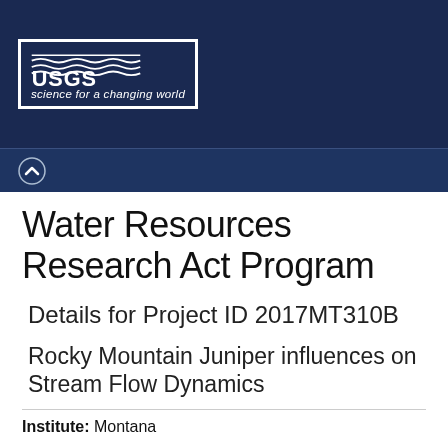[Figure (logo): USGS logo with wave symbol and text 'science for a changing world' on dark navy background]
Water Resources Research Act Program
Details for Project ID 2017MT310B
Rocky Mountain Juniper influences on Stream Flow Dynamics
Institute: Montana